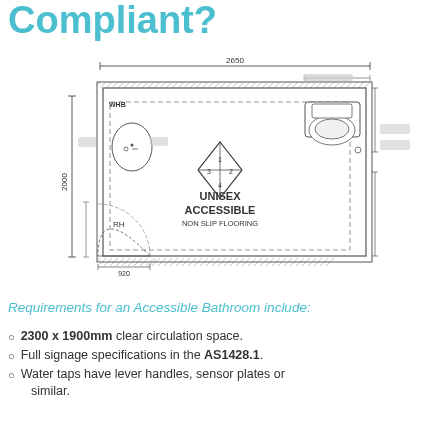Compliant?
[Figure (engineering-diagram): Floor plan of a Unisex Accessible bathroom, top-down view. Dimensions shown: 2650mm wide, 2000mm tall. Inside the room: WHB (washhand basin) on left wall, toilet on right wall, a quadrant/diamond turn-space diagram in the centre labelled 1/2/3/4, dashed clearance lines, door swing arc at bottom left, door width 920mm. Labels: UNISEX ACCESSIBLE, NON SLIP FLOORING, RH. Hatching on walls.]
Requirements for an Accessible Bathroom include:
2300 x 1900mm clear circulation space.
Full signage specifications in the AS1428.1.
Water taps have lever handles, sensor plates or similar.